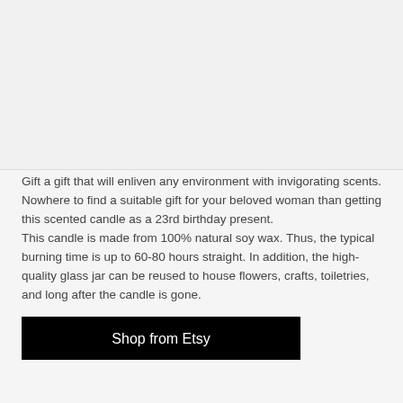[Figure (photo): Image area placeholder at top of page (product image area)]
Gift a gift that will enliven any environment with invigorating scents. Nowhere to find a suitable gift for your beloved woman than getting this scented candle as a 23rd birthday present.
This candle is made from 100% natural soy wax. Thus, the typical burning time is up to 60-80 hours straight. In addition, the high-quality glass jar can be reused to house flowers, crafts, toiletries, and long after the candle is gone.
Shop from Etsy